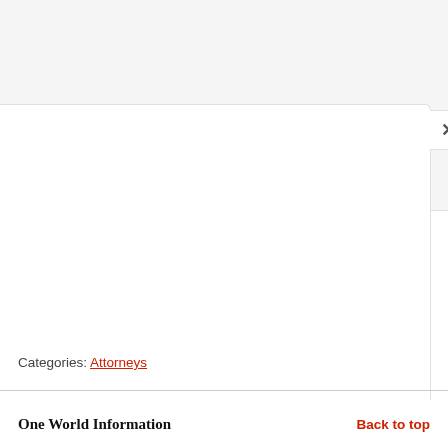[Figure (screenshot): Modal dialog box UI element with close (×) button in upper right, overlaid on a light gray background area]
Categories: Attorneys
One World Information
Back to top